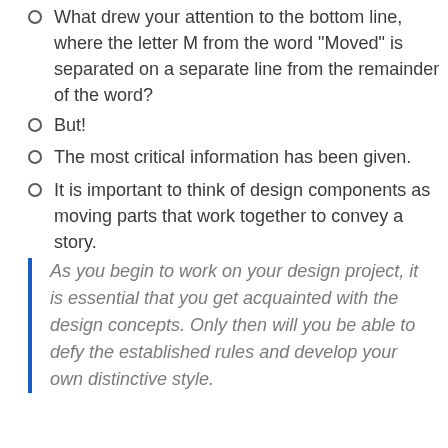What drew your attention to the bottom line, where the letter M from the word “Moved” is separated on a separate line from the remainder of the word?
But!
The most critical information has been given.
It is important to think of design components as moving parts that work together to convey a story.
As you begin to work on your design project, it is essential that you get acquainted with the design concepts. Only then will you be able to defy the established rules and develop your own distinctive style.